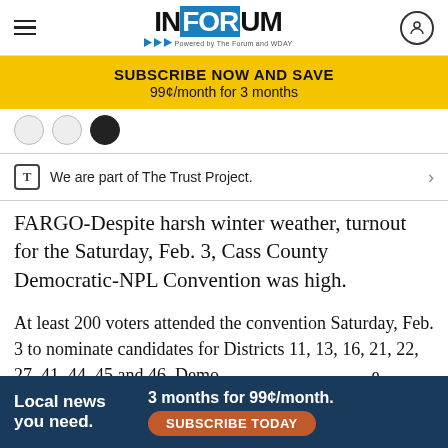INFORUM — Powered by The Forum and WDAY
SUBSCRIBE NOW AND SAVE 99¢/month for 3 months
We are part of The Trust Project.
FARGO-Despite harsh winter weather, turnout for the Saturday, Feb. 3, Cass County Democratic-NPL Convention was high.
At least 200 voters attended the convention Saturday, Feb. 3 to nominate candidates for Districts 11, 13, 16, 21, 22, 27, 41, 44, 45 and 46. Democrats also nominated candidates for...
Local news you need. 3 months for 99¢/month. SUBSCRIBE TODAY